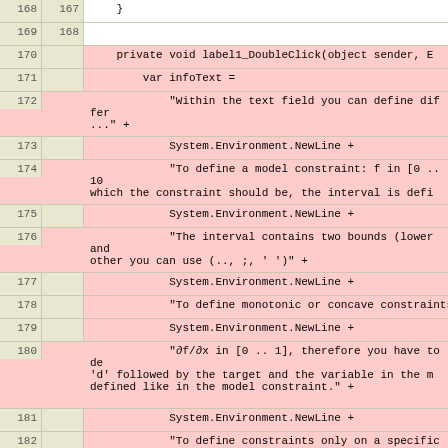[Figure (screenshot): Code diff view showing C# source code lines 167-170 with line numbers on both sides. Lines 170-188 are highlighted in red (deleted/changed), lines 169-170 at bottom are highlighted in green (added). Code shows a label1_DoubleClick event handler with a long string concatenation building infoText, followed by a MessageBox.Show call, and a helpButton_DoubleClick method stub.]